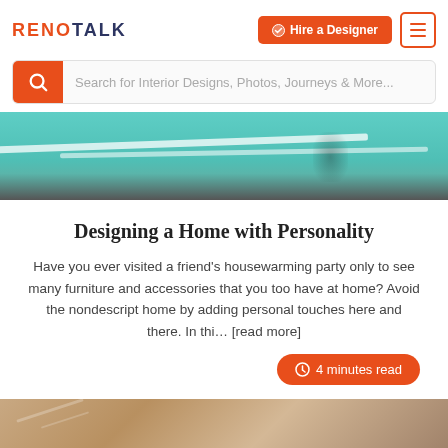RENOTALK — Hire a Designer | Menu
Search for Interior Designs, Photos, Journeys & More...
[Figure (photo): Interior ceiling with teal/turquoise painted walls and a chandelier, white trim lines visible]
Designing a Home with Personality
Have you ever visited a friend's housewarming party only to see many furniture and accessories that you too have at home? Avoid the nondescript home by adding personal touches here and there. In thi... [read more]
4 minutes read
[Figure (photo): Bottom partial image showing wooden or stone ceiling/wall with warm brown tones]